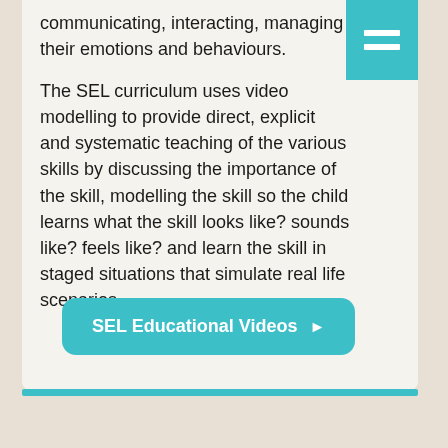communicating, interacting, managing their emotions and behaviours.
The SEL curriculum uses video modelling to provide direct, explicit and systematic teaching of the various skills by discussing the importance of the skill, modelling the skill so the child learns what the skill looks like? sounds like? feels like? and learn the skill in staged situations that simulate real life scenarios.
[Figure (other): Teal rounded rectangle button with white bold text 'SEL Educational Videos' and a right-pointing triangle arrow icon]